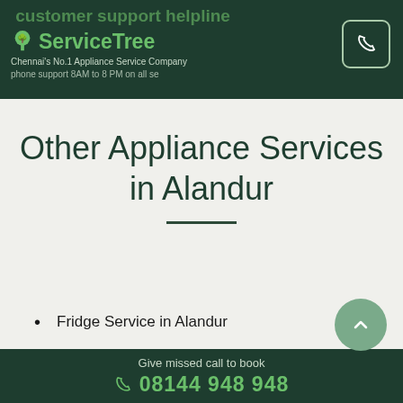ServiceTree - Chennai's No.1 Appliance Service Company
Other Appliance Services in Alandur
Fridge Service in Alandur
Give missed call to book 08144 948 948